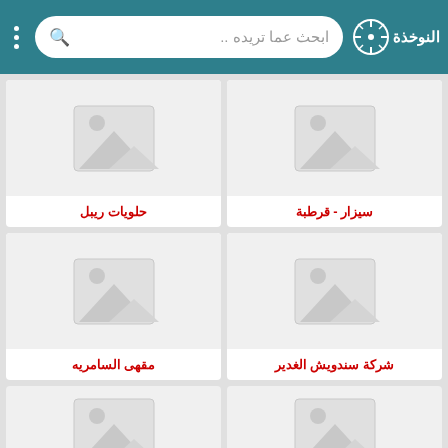النوخذة — search app header with navigation menu and search bar
[Figure (screenshot): Placeholder image card for حلويات ريبل]
حلويات ريبل
[Figure (screenshot): Placeholder image card for سيزار - قرطبة]
سيزار - قرطبة
[Figure (screenshot): Placeholder image card for مقهى السامريه]
مقهى السامريه
[Figure (screenshot): Placeholder image card for شركة سندويش الغدير]
شركة سندويش الغدير
[Figure (screenshot): Placeholder image card (bottom left, partial)]
[Figure (screenshot): Placeholder image card (bottom right, partial)]